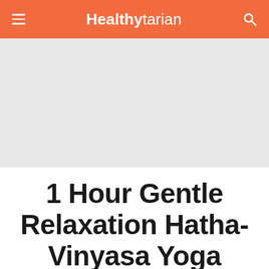Healthytarian
[Figure (other): Advertisement placeholder area, light gray background]
1 Hour Gentle Relaxation Hatha-Vinyasa Yoga Class